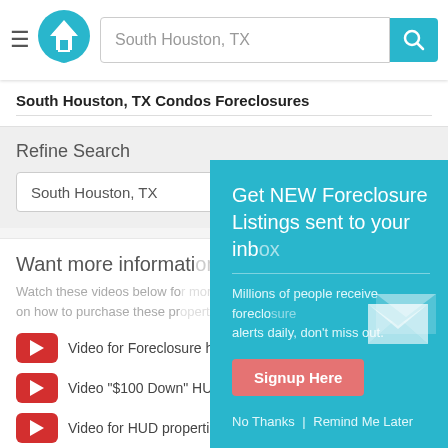South Houston, TX
South Houston, TX Condos Foreclosures
Refine Search
South Houston, TX
Want more information
Watch these videos below for more information on how to purchase these properties.
Video for Foreclosure h...
Video "$100 Down" HU...
Video for HUD properties
Video for Shadow Inventory
Video for As-Is homes
Video for P...
[Figure (screenshot): Popup overlay with teal background promoting foreclosure listing email alerts. Contains title 'Get NEW Foreclosure Listings sent to your inbox', subtext 'Millions of people receive foreclosure alerts daily, don't miss out.', a red 'Signup Here' button, envelope icon, and links 'No Thanks | Remind Me Later'.]